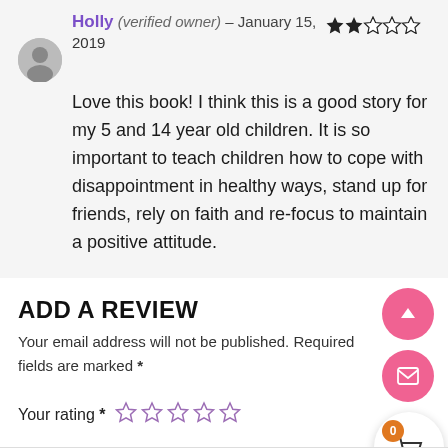Holly (verified owner) – January 15, 2019 ★★☆☆☆ Love this book! I think this is a good story for my 5 and 14 year old children. It is so important to teach children how to cope with disappointment in healthy ways, stand up for friends, rely on faith and re-focus to maintain a positive attitude.
ADD A REVIEW
Your email address will not be published. Required fields are marked *
Your rating * ☆ ☆ ☆ ☆ ☆